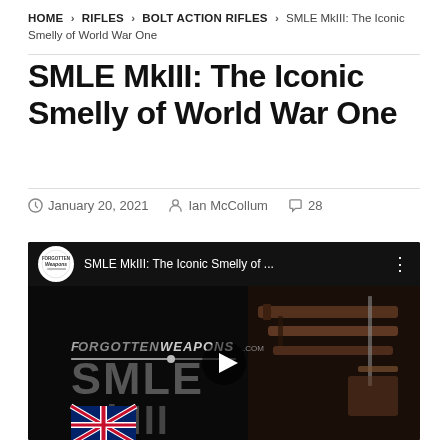HOME > RIFLES > BOLT ACTION RIFLES > SMLE MkIII: The Iconic Smelly of World War One
SMLE MkIII: The Iconic Smelly of World War One
January 20, 2021  Ian McCollum  28
[Figure (screenshot): YouTube video embed thumbnail for 'SMLE MkIII: The Iconic Smelly of ...' showing Forgotten Weapons logo, large SMLE MkIII text overlay, UK flag in bottom left, and rifles in the background with a play button in the center.]